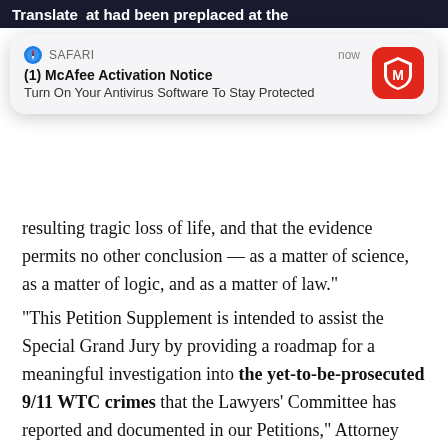at had been preplaced at the
[Figure (screenshot): Safari browser notification popup: '(1) McAfee Activation Notice — Turn On Your Antivirus Software To Stay Protected', with McAfee red icon and timestamp 'now']
resulting tragic loss of life, and that ‘the evidence permits no other conclusion — as a matter of science, as a matter of logic, and as a matter of law.”
“This Petition Supplement is intended to assist the Special Grand Jury by providing a roadmap for a meaningful investigation into the yet-to-be-prosecuted 9/11 WTC crimes that the Lawyers’ Committee has reported and documented in our Petitions,” Attorney David Meiswinkle, President of the Lawyers’ Committee’s Board of Directors, said.
Finally, after nearly two decades of ridicule, dismissal, and outright intolerance of information contrary to the “official story” of what happened on 9/11, the public